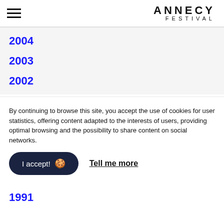≡  ANNECY FESTIVAL
2004
2003
2002
By continuing to browse this site, you accept the use of cookies for user statistics, offering content adapted to the interests of users, providing optimal browsing and the possibility to share content on social networks.
I accept! 🍪  Tell me more
1991